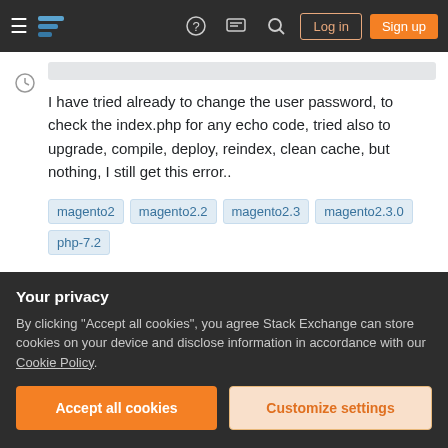Stack Exchange navigation bar with hamburger menu, logo, help, chat, search icons, Log in and Sign up buttons
I have tried already to change the user password, to check the index.php for any echo code, tried also to upgrade, compile, deploy, reindex, clean cache, but nothing, I still get this error..
magento2
magento2.2
magento2.3
magento2.3.0
php-7.2
Share    edited Sep 18, 2019 at 8:34
Your privacy
By clicking "Accept all cookies", you agree Stack Exchange can store cookies on your device and disclose information in accordance with our Cookie Policy.
Accept all cookies  Customize settings